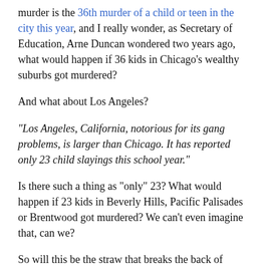murder is the 36th murder of a child or teen in the city this year, and I really wonder, as Secretary of Education, Arne Duncan wondered two years ago, what would happen if 36 kids in Chicago's wealthy suburbs got murdered?
And what about Los Angeles?
"Los Angeles, California, notorious for its gang problems, is larger than Chicago. It has reported only 23 child slayings this school year."
Is there such a thing as "only" 23? What would happen if 23 kids in Beverly Hills, Pacific Palisades or Brentwood got murdered? We can't even imagine that, can we?
So will this be the straw that breaks the back of indifference to these crimes against children of color? My immediate response is a cynical one: No.